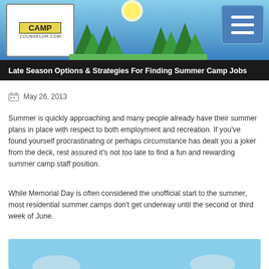[Figure (illustration): Camp website header banner with blue sky background, camp logo on left, trees, and hamburger menu button on right]
Late Season Options & Strategies For Finding Summer Camp Jobs
May 26, 2013
Summer is quickly approaching and many people already have their summer plans in place with respect to both employment and recreation. If you've found yourself procrastinating or perhaps circumstance has dealt you a joker from the deck, rest assured it's not too late to find a fun and rewarding summer camp staff position.
While Memorial Day is often considered the unofficial start to the summer, most residential summer camps don't get underway until the second or third week of June.
[Figure (photo): Partial photo visible at bottom of page showing blue sky background, likely campers or camp staff]